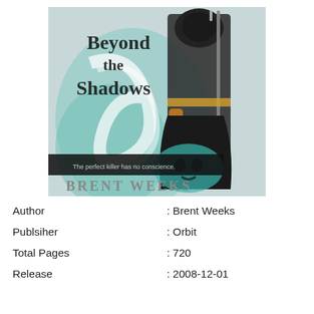[Figure (illustration): Book cover of 'Beyond the Shadows' by Brent Weeks, showing a dark-clad assassin figure holding a sword against a teal and white swirling background. Text on cover reads 'Beyond the Shadows', 'The perfect killer has no conscience', and 'BRENT WEEKS'.]
| Author | : Brent Weeks |
| Publsiher | : Orbit |
| Total Pages | : 720 |
| Release | : 2008-12-01 |